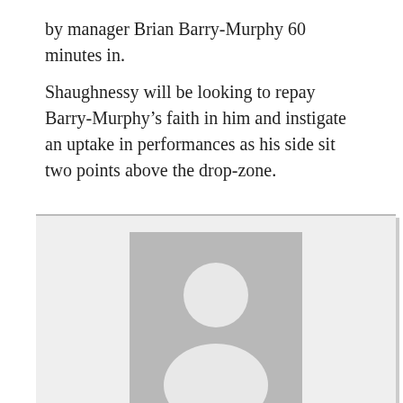by manager Brian Barry-Murphy 60 minutes in.
Shaughnessy will be looking to repay Barry-Murphy’s faith in him and instigate an uptake in performances as his side sit two points above the drop-zone.
[Figure (illustration): Author card with a default grey avatar silhouette placeholder image, author name 'SIN Staff' and '+ posts' link below.]